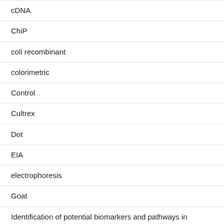cDNA
ChiP
coli recombinant
colorimetric
Control
Cultrex
Dot
EIA
electrophoresis
Goat
Identification of potential biomarkers and pathways in ulcerative colitis with combined public mRNA and miRNA expression microarray data analysis.
My Blog